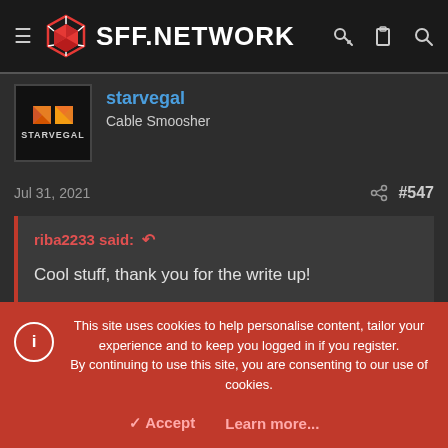SFF.NETWORK
starvegal
Cable Smoosher
Jul 31, 2021  #547
riba2233 said:
Cool stuff, thank you for the write up!
This site uses cookies to help personalise content, tailor your experience and to keep you logged in if you register. By continuing to use this site, you are consenting to our use of cookies.
Accept  Learn more...